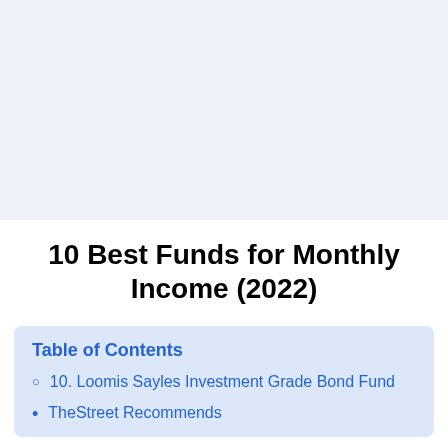[Figure (other): Light blue-grey banner background area at top of page]
10 Best Funds for Monthly Income (2022)
Table of Contents
10. Loomis Sayles Investment Grade Bond Fund
TheStreet Recommends